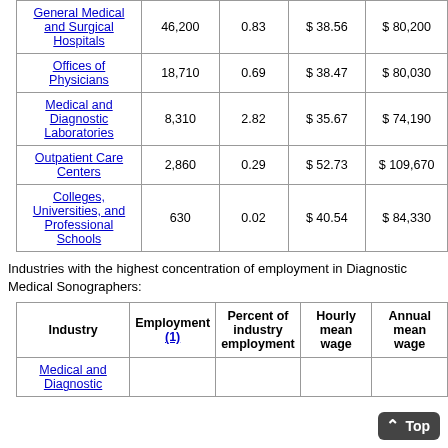| General Medical and Surgical Hospitals | 46,200 | 0.83 | $ 38.56 | $ 80,200 |
| Offices of Physicians | 18,710 | 0.69 | $ 38.47 | $ 80,030 |
| Medical and Diagnostic Laboratories | 8,310 | 2.82 | $ 35.67 | $ 74,190 |
| Outpatient Care Centers | 2,860 | 0.29 | $ 52.73 | $ 109,670 |
| Colleges, Universities, and Professional Schools | 630 | 0.02 | $ 40.54 | $ 84,330 |
Industries with the highest concentration of employment in Diagnostic Medical Sonographers:
| Industry | Employment (1) | Percent of industry employment | Hourly mean wage | Annual mean wage |
| --- | --- | --- | --- | --- |
| Medical and Diagnostic ... | 8,310 | 2.82 | $ 35.67 | $ 74,190 |